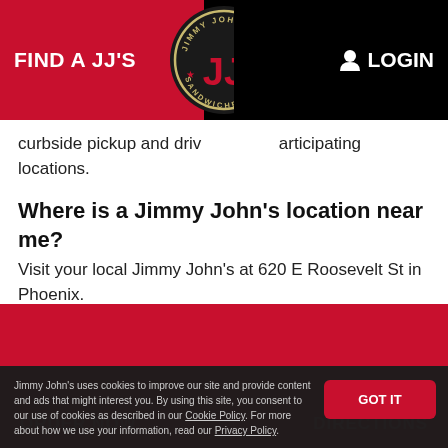FIND A JJ'S   LOGIN
curbside pickup and drive-thru at participating locations.
Where is a Jimmy John's location near me?
Visit your local Jimmy John's at 620 E Roosevelt St in Phoenix.
Does 620 E Roosevelt St Jimmy John's offer delivery options?
Yes, Jimmy John's offers contactless delivery options to those within our delivery areas.
What is the most popular Jimmy John's
Jimmy John's uses cookies to improve our site and provide content and ads that might interest you. By using this site, you consent to our use of cookies as described in our Cookie Policy. For more about how we use your information, read our Privacy Policy.